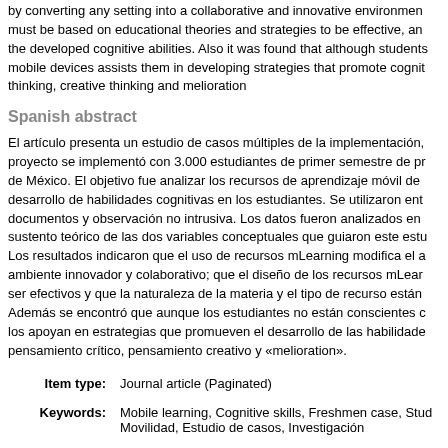by converting any setting into a collaborative and innovative environment must be based on educational theories and strategies to be effective, and the developed cognitive abilities. Also it was found that although students mobile devices assists them in developing strategies that promote cognitive thinking, creative thinking and melioration
Spanish abstract
El artículo presenta un estudio de casos múltiples de la implementación, proyecto se implementó con 3.000 estudiantes de primer semestre de pr de México. El objetivo fue analizar los recursos de aprendizaje móvil de desarrollo de habilidades cognitivas en los estudiantes. Se utilizaron ent documentos y observación no intrusiva. Los datos fueron analizados en sustento teórico de las dos variables conceptuales que guiaron este estu Los resultados indicaron que el uso de recursos mLearning modifica el a ambiente innovador y colaborativo; que el diseño de los recursos mLear ser efectivos y que la naturaleza de la materia y el tipo de recurso están Además se encontró que aunque los estudiantes no están conscientes c los apoyan en estrategias que promueven el desarrollo de las habilidade pensamiento crítico, pensamiento creativo y «melioration».
| Label | Value |
| --- | --- |
| Item type: | Journal article (Paginated) |
| Keywords: | Mobile learning, Cognitive skills, Freshmen case, Stud Movilidad, Estudio de casos, Investigación |
| Subjects: | G. Industry, profession and education. > GG. Curricula
G. Industry, profession and education. > GH. Educatio
G. Industry, profession and education. > GI. Training.
H. Information sources, supports, channels. > HI. Elec
L. Information technology and library technology > LB |